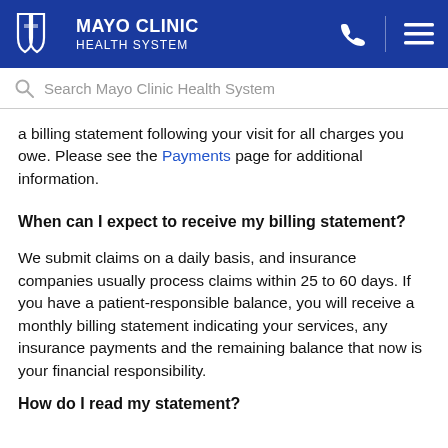[Figure (logo): Mayo Clinic Health System logo with shield icon and white text on blue background, with phone and menu icons on the right]
[Figure (screenshot): Search bar with magnifying glass icon and placeholder text 'Search Mayo Clinic Health System']
a billing statement following your visit for all charges you owe. Please see the Payments page for additional information.
When can I expect to receive my billing statement?
We submit claims on a daily basis, and insurance companies usually process claims within 25 to 60 days. If you have a patient-responsible balance, you will receive a monthly billing statement indicating your services, any insurance payments and the remaining balance that now is your financial responsibility.
How do I read my statement?